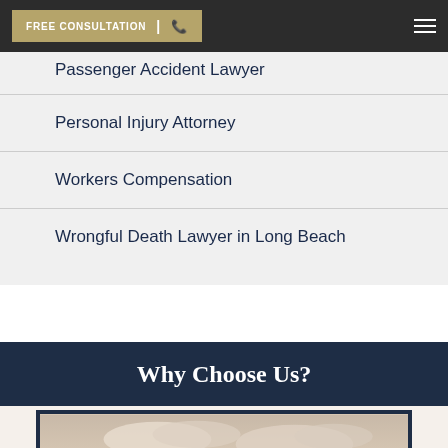FREE CONSULTATION
Passenger Accident Lawyer
Personal Injury Attorney
Workers Compensation
Wrongful Death Lawyer in Long Beach
Why Choose Us?
[Figure (photo): Outdoor photograph with cloudy sky background, partially visible at bottom of page]